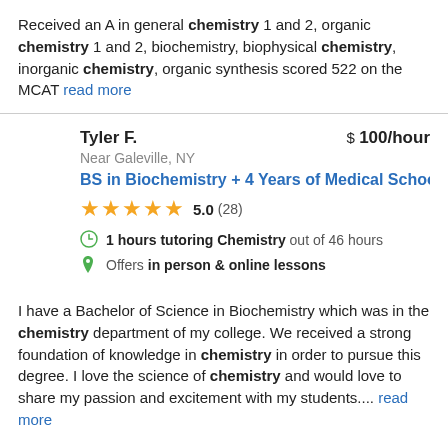Received an A in general chemistry 1 and 2, organic chemistry 1 and 2, biochemistry, biophysical chemistry, inorganic chemistry, organic synthesis scored 522 on the MCAT read more
Tyler F. $ 100/hour Near Galeville, NY BS in Biochemistry + 4 Years of Medical School ★★★★★ 5.0 (28) 1 hours tutoring Chemistry out of 46 hours Offers in person & online lessons
I have a Bachelor of Science in Biochemistry which was in the chemistry department of my college. We received a strong foundation of knowledge in chemistry in order to pursue this degree. I love the science of chemistry and would love to share my passion and excitement with my students.... read more